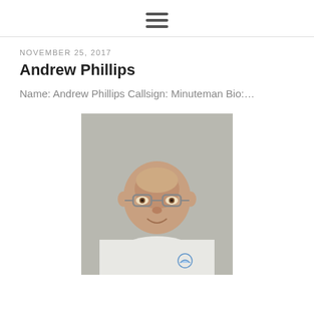≡ (menu icon)
NOVEMBER 25, 2017
Andrew Phillips
Name: Andrew Phillips Callsign: Minuteman Bio:…
[Figure (photo): Portrait photo of Andrew Phillips, an older bald man wearing glasses and a white t-shirt with a logo on the chest, against a grey background]